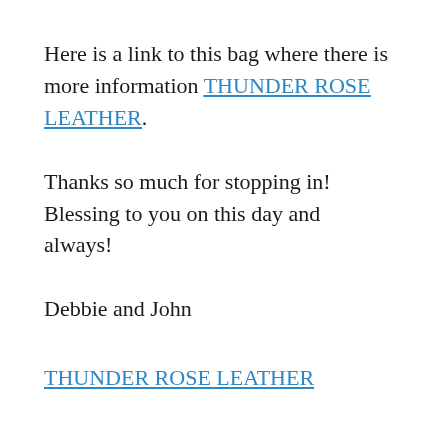Here is a link to this bag where there is more information THUNDER ROSE LEATHER.
Thanks so much for stopping in! Blessing to you on this day and always!
Debbie and John
THUNDER ROSE LEATHER